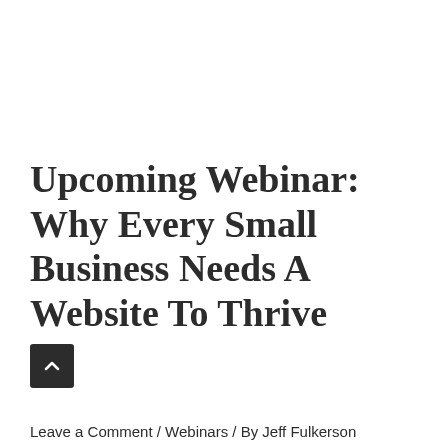Upcoming Webinar: Why Every Small Business Needs A Website To Thrive
Leave a Comment / Webinars / By Jeff Fulkerson